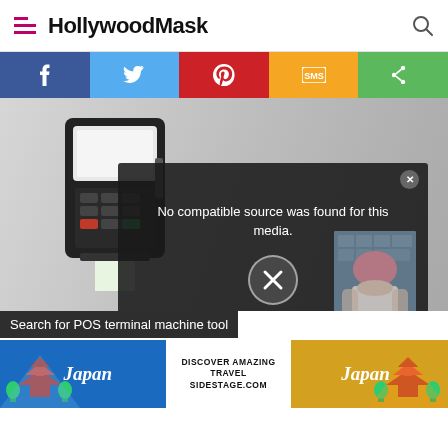HollywoodMask
[Figure (screenshot): Social sharing bar with Facebook, Twitter, Pinterest, SMS, and Share buttons]
[Figure (photo): POS terminal machine with a video overlay showing 'No compatible source was found for this media.' with an X dismiss button and a thumbnail of a woman with pink hair]
Search for POS terminal machine tool
[Figure (infographic): Japan travel advertisement banner: 'DISCOVER AMAZING TRAVEL SIDESTAGE.COM' with Japan logo and pagoda imagery on both sides]